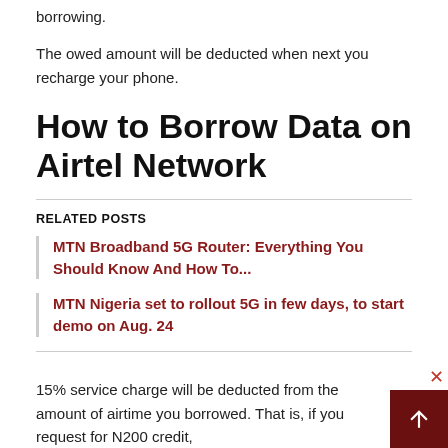borrowing.
The owed amount will be deducted when next you recharge your phone.
How to Borrow Data on Airtel Network
RELATED POSTS
MTN Broadband 5G Router: Everything You Should Know And How To...
MTN Nigeria set to rollout 5G in few days, to start demo on Aug. 24
15% service charge will be deducted from the amount of airtime you borrowed. That is, if you request for N200 credit,